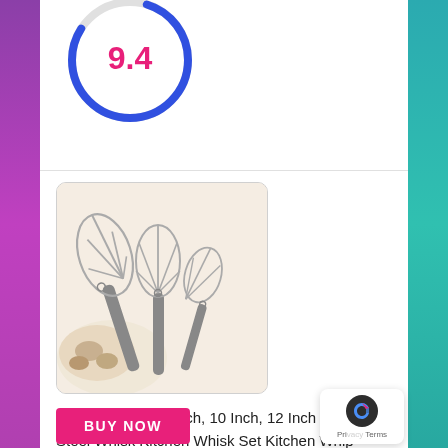[Figure (other): Partial donut/circle score indicator showing 9.4 in pink text on white background]
[Figure (photo): Three stainless steel whisks of different sizes (8 inch, 10 inch, 12 inch) arranged together on white background with cream/dough]
CHICHIC 3Pcs 8 Inch, 10 Inch, 12 Inch Stainless Steel Whisk Kitchen Whisk Set Kitchen Whip Kitchen Utensils Wire Whisk Balloon Whisk Set for Blending, Whisking, Beating and Stirring
BUY NOW